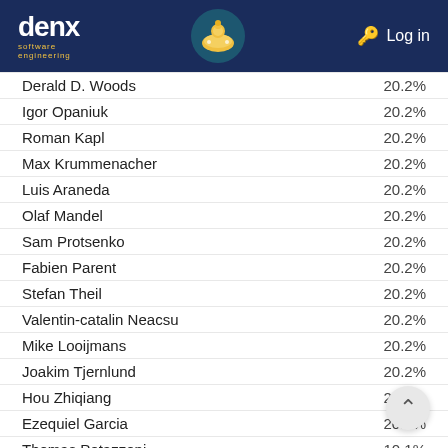denx software engineering | Log in
Derald D. Woods  20.2%
Igor Opaniuk  20.2%
Roman Kapl  20.2%
Max Krummenacher  20.2%
Luis Araneda  20.2%
Olaf Mandel  20.2%
Sam Protsenko  20.2%
Fabien Parent  20.2%
Stefan Theil  20.2%
Valentin-catalin Neacsu  20.2%
Mike Looijmans  20.2%
Joakim Tjernlund  20.2%
Hou Zhiqiang  20.2%
Ezequiel Garcia  20.2%
Thomas Petazzoni  10.1%
??  10.1%